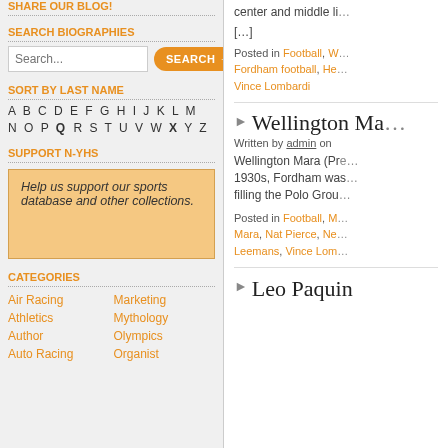SHARE OUR BLOG!
SEARCH BIOGRAPHIES
Search...  SEARCH →
SORT BY LAST NAME
A B C D E F G H I J K L M N O P Q R S T U V W X Y Z
SUPPORT N-YHS
Help us support our sports database and other collections.
CATEGORIES
Air Racing
Athletics
Author
Auto Racing
Marketing
Mythology
Olympics
Organist
center and middle li…
[…]
Posted in Football, W… Fordham football, He… Vince Lombardi
Wellington Ma…
Written by admin on
Wellington Mara (Pre… 1930s, Fordham was… filling the Polo Grou…
Posted in Football, M… Mara, Nat Pierce, Ne… Leemans, Vince Lom…
Leo Paquin